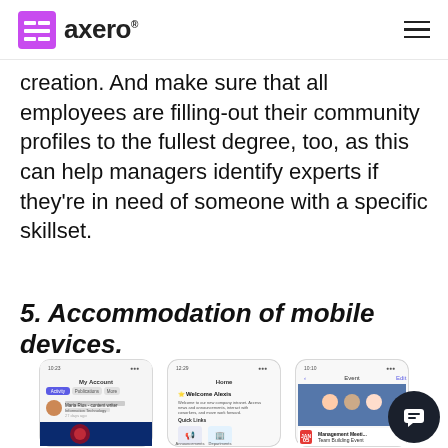axero
creation. And make sure that all employees are filling-out their community profiles to the fullest degree, too, as this can help managers identify experts if they're in need of someone with a specific skillset.
5. Accommodation of mobile devices.
[Figure (screenshot): Three mobile phone screenshots showing Axero intranet app: My Account profile page, Home welcome screen for Alexis, and Event page showing Management Meeting Team Building Event]